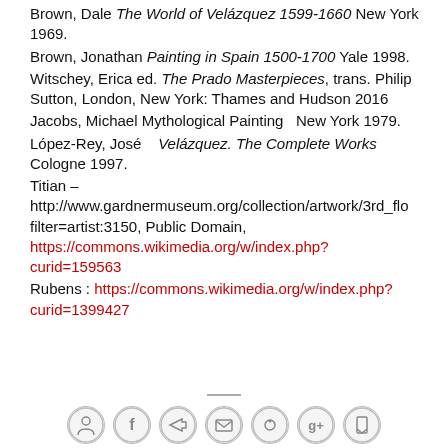Brown, Dale The World of Velázquez 1599-1660 New York 1969.
Brown, Jonathan Painting in Spain 1500-1700 Yale 1998.
Witschey, Erica ed. The Prado Masterpieces, trans. Philip Sutton, London, New York: Thames and Hudson 2016
Jacobs, Michael Mythological Painting  New York 1979.
López-Rey, José   Velázquez. The Complete Works Cologne 1997.
Titian – http://www.gardnermuseum.org/collection/artwork/3rd_flo filter=artist:3150, Public Domain, https://commons.wikimedia.org/w/index.php?curid=159563
Rubens : https://commons.wikimedia.org/w/index.php?curid=1399427
[Figure (other): Horizontal divider line and social media sharing icons (person, Facebook, share, email, Pinterest, Google+, bookmark) at the bottom of the page]